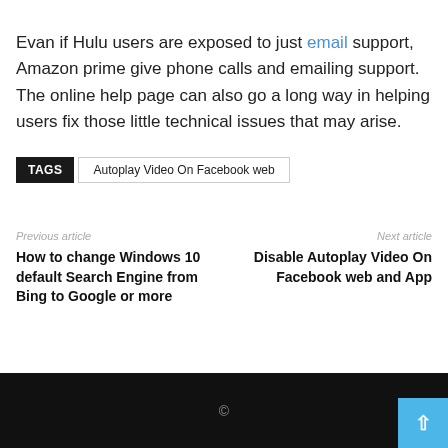Evan if Hulu users are exposed to just email support, Amazon prime give phone calls and emailing support. The online help page can also go a long way in helping users fix those little technical issues that may arise.
TAGS  Autoplay Video On Facebook web
Previous article
How to change Windows 10 default Search Engine from Bing to Google or more
Next article
Disable Autoplay Video On Facebook web and App
©